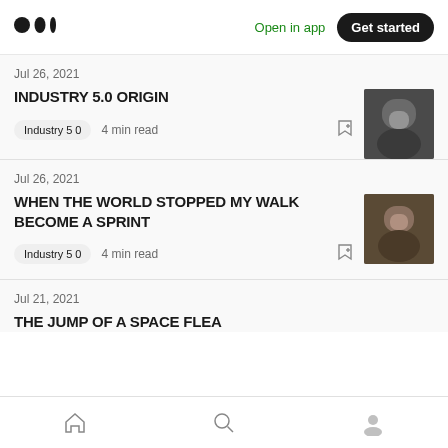Medium logo | Open in app | Get started
Jul 26, 2021
INDUSTRY 5.0 ORIGIN
Industry 5 0   4 min read
[Figure (photo): Photo of a man in dark clothing, portrait shot]
Jul 26, 2021
WHEN THE WORLD STOPPED MY WALK BECOME A SPRINT
Industry 5 0   4 min read
[Figure (photo): Photo of a bald man in front of a building]
Jul 21, 2021
THE JUMP OF A SPACE FLEA